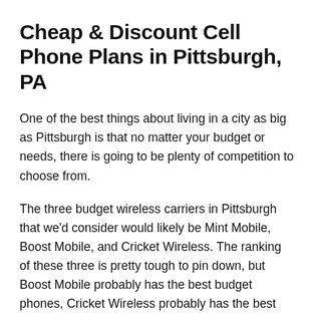Cheap & Discount Cell Phone Plans in Pittsburgh, PA
One of the best things about living in a city as big as Pittsburgh is that no matter your budget or needs, there is going to be plenty of competition to choose from.
The three budget wireless carriers in Pittsburgh that we'd consider would likely be Mint Mobile, Boost Mobile, and Cricket Wireless. The ranking of these three is pretty tough to pin down, but Boost Mobile probably has the best budget phones, Cricket Wireless probably has the best overall coverage, and Mint Mobile is the exciting newcomer with plans around $15 per month.
We note this anytime we talk about budget wireless providers, but it's always worth repeating: please consider